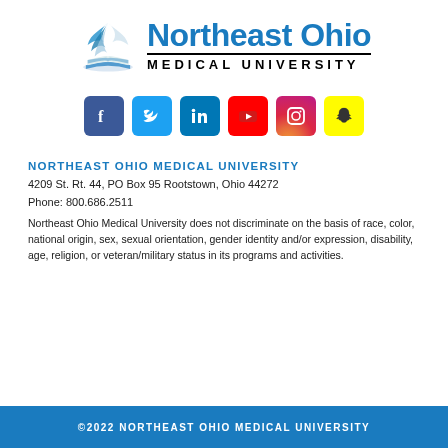[Figure (logo): Northeast Ohio Medical University logo with bird/feather graphic and university name in blue and black]
[Figure (infographic): Social media icons: Facebook, Twitter, LinkedIn, YouTube, Instagram, Snapchat]
NORTHEAST OHIO MEDICAL UNIVERSITY
4209 St. Rt. 44, PO Box 95 Rootstown, Ohio 44272
Phone: 800.686.2511
Northeast Ohio Medical University does not discriminate on the basis of race, color, national origin, sex, sexual orientation, gender identity and/or expression, disability, age, religion, or veteran/military status in its programs and activities.
©2022 NORTHEAST OHIO MEDICAL UNIVERSITY